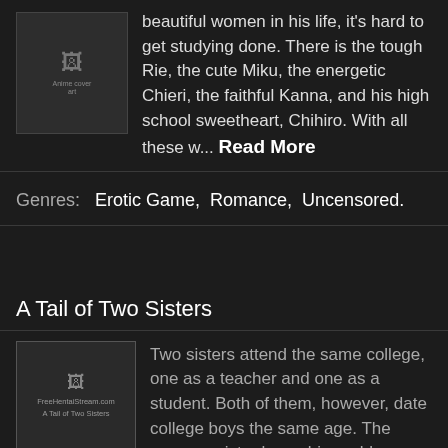beautiful women in his life, it's hard to get studying done. There is the tough Rie, the cute Miku, the energetic Chieri, the faithful Kanna, and his high school sweetheart, Chihiro. With all these w... Read More
[Figure (photo): Anime cover art showing characters]
Genres:  Erotic Game,  Romance,  Uncensored.
A Tail of Two Sisters
[Figure (photo): Broken image placeholder for A Tail of Two Sisters from FreeHentaiStream.com]
Two sisters attend the same college, one as a teacher and one as a student. Both of them, however, date college boys the same age. The younger sister has a big problem, because her